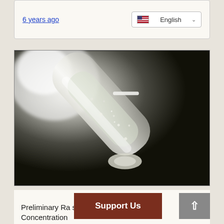6 years ago
[Figure (photo): Close-up photograph of a laboratory test tube or vial containing a clear liquid with small particles, held against a dark background with bright light source in upper left corner]
Preliminary Ra...s : Aluminum Concentration...
Support Us